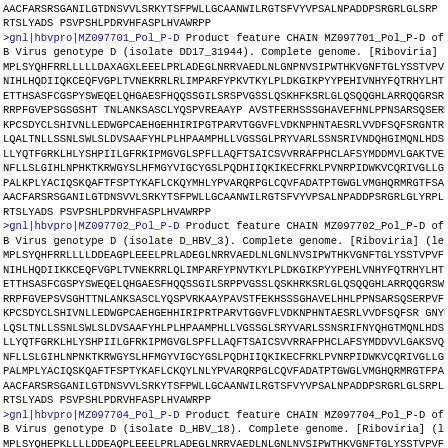AACFARSRSGANILGTDNSVVLSRKYTSFPWLLGCAANWILRGTSFVYVPSALNPADDPSRGRLGLSRPL (truncated) RTSLYADS PSVPSHLPDRVHFASPLHVAWRPP
>gnl|hbvpro|MZ097701_Pol_P-D Product feature CHAIN MZ097701_Pol_P-D of B Virus genotype D (isolate DD17_31944). Complete genome. [Riboviria]
MPLSYQHFRRLLLLLDAXAGXLEEELPRLADEGLNRRVAEDLNLGNPNVSIPWTHKVGNFTGLYSSTVPVF NIHLHQDIIQKCEQFVGPLTVNEKRRLRLIMPARFYPKVTKYLPLDKGIKPYYPEHIVNHYFQTRHYLHT ETTHSASFCGSPYSWEQELQHGAESFHQQSSGILSRSPVGSSLQSKHFKSRLGLQSQQGHLARRQQGRSR RRPFGVEPSGSGSHTTNLANKSASCLYQSPVREAAYP...
>gnl|hbvpro|MZ097702_Pol_P-D Product feature CHAIN MZ097702_Pol_P-D of B Virus genotype D (isolate D_HBV_3). Complete genome. [Riboviria] (le
MPLSYQHFRRLLLLDDEAGPLEEELPRLADEGLNRRVAEDLNLGNLNVSIPWTHKVGNFTGLYSSTVPVF NIHLHQDIIKKCEQFVGPLTVNEKRRLQLIMPARFYPNVTKYLPLDKGIKPYYPEHLVNHYFQTRHYLHT...
>gnl|hbvpro|MZ097704_Pol_P-D Product feature CHAIN MZ097704_Pol_P-D of B Virus genotype D (isolate D_HBV_18). Complete genome. [Riboviria] (l
MPLSYQHEPKLLLLDDEAQPLEEELPRLADEGLNRRVAEDLNLGNLNVSIPWTHKVGNFTGLYSSTVPVF